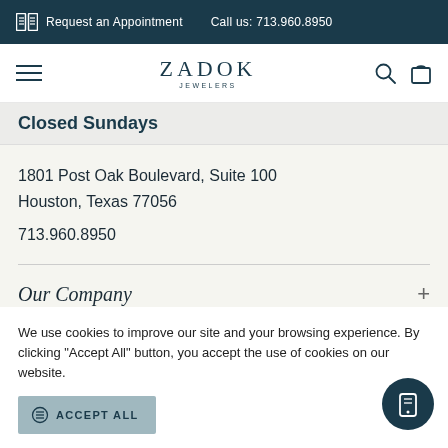Request an Appointment   Call us: 713.960.8950
[Figure (logo): Zadok Jewelers logo with hamburger menu, search, and bag icons]
Closed Sundays
1801 Post Oak Boulevard, Suite 100
Houston, Texas 77056
713.960.8950
Our Company
We use cookies to improve our site and your browsing experience. By clicking "Accept All" button, you accept the use of cookies on our website.